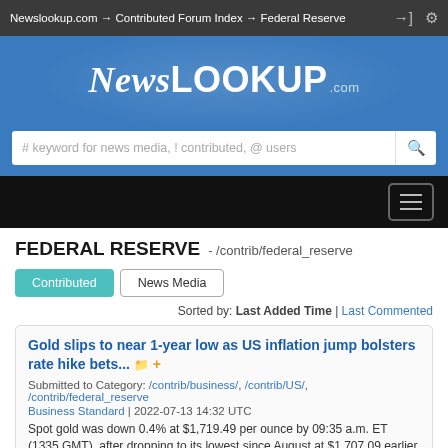Newslookup.com → Contributed Forum Index → Federal Reserve
[Figure (logo): NewsLookup.com logo on blue banner background]
# keyword for news media, ! contributed, @ users
FEDERAL RESERVE - /contrib/federal_reserve
Contributed | News Media
Sorted by: Last Added Time | Last Commented
Gold slips to near 1-year low as US inflation jump bolsters rate hike bets... Submitted to Category: /contrib/business/, /contrib/US/, /contrib/federal_reserve Business Standard | 2022-07-13 14:32 UTC Spot gold was down 0.4% at $1,719.49 per ounce by 09:35 a.m. ET (1335 GMT), after dropping to its lowest since August at $1,707.09 earlier in the